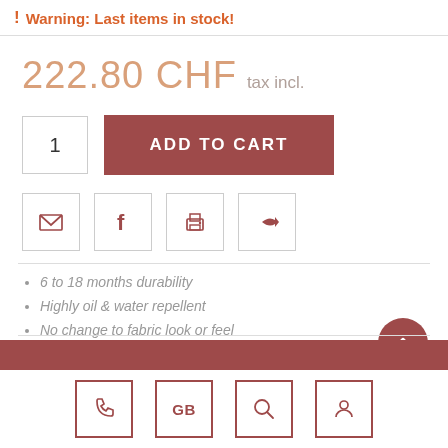! Warning: Last items in stock!
222.80 CHF tax incl.
1  ADD TO CART
[Figure (infographic): Share/action icons: email, facebook, print, share]
6 to 18 months durability
Highly oil & water repellent
No change to fabric look or feel
[Figure (infographic): Bottom navigation icons: phone, GB language selector, search, user account]